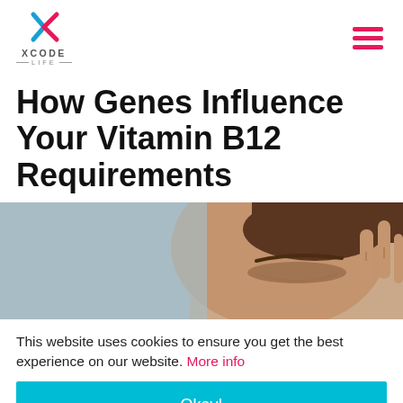[Figure (logo): Xcode Life logo with stylized X icon in pink and blue, text XCODE LIFE below]
How Genes Influence Your Vitamin B12 Requirements
[Figure (photo): Close-up photo of a woman with her hand raised to her forehead/temple, eyes closed, appearing stressed or in pain. Left side of image has a gray/blue background.]
This website uses cookies to ensure you get the best experience on our website. More info
Okay!